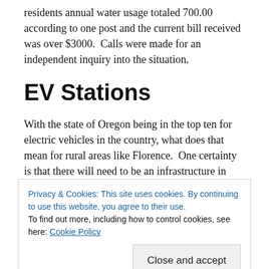residents annual water usage totaled 700.00 according to one post and the current bill received was over $3000.  Calls were made for an independent inquiry into the situation.
EV Stations
With the state of Oregon being in the top ten for electric vehicles in the country, what does that mean for rural areas like Florence.  One certainty is that there will need to be an infrastructure in place to
Privacy & Cookies: This site uses cookies. By continuing to use this website, you agree to their use.
To find out more, including how to control cookies, see here: Cookie Policy
charging stations.  There are currently 5 operative